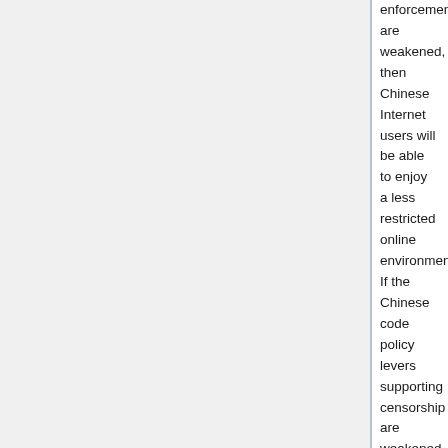enforcement, are weakened, then Chinese Internet users will be able to enjoy a less restricted online environment. If the Chinese code policy levers supporting censorship are weakened, then the government will be unable to develop and maintain the necessary network architecture to allow the enforcement of Internet regulations, again presenting the opportunity for a less restricted Internet for the Chinese people.
A strong argument can be made that the legal policy levers are the more critical to the Chinese censorship regime than the code policy levers, as the government has the ability to strengthen the code levers by providing more funding for network development and innovation while using police power to arrest or